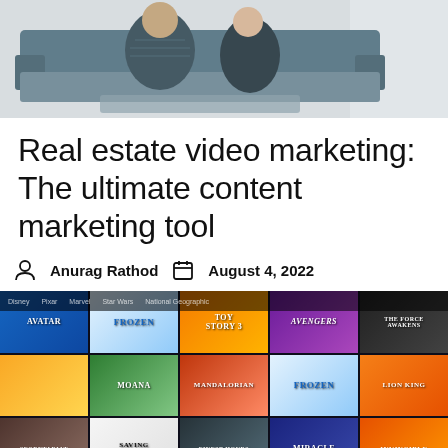[Figure (photo): Two people sitting on a couch, partial view, top of page]
Real estate video marketing: The ultimate content marketing tool
Anurag Rathod   August 4, 2022
[Figure (screenshot): Disney+ streaming platform grid showing movie/show thumbnails: Avatar, Frozen, Toy Story 3, Avengers, The Force Awakens, The Simpsons, Moana, The Mandalorian, Frozen, The Lion King, Secretariat, Saving Mr. Banks, Finest Hours, Miracle, Invincible]